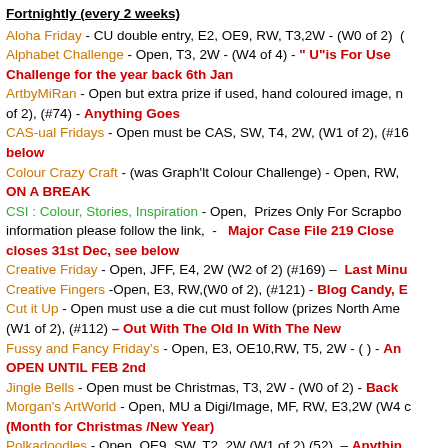Fortnightly (every 2 weeks)
Aloha Friday - CU double entry, E2, OE9, RW, T3,2W - (W0 of 2)  (
Alphabet Challenge - Open, T3, 2W - (W4 of 4) - " U"is For Use  Challenge for the year back 6th Jan
ArtbyMiRan - Open but extra prize if used, hand coloured image, n  of 2), (#74) - Anything Goes
CAS-ual Fridays - Open must be CAS, SW, T4, 2W, (W1 of 2), (#16  below
Colour Crazy Craft - (was Graph'lt Colour Challenge) - Open, RW,  ON A BREAK
CSI : Colour, Stories, Inspiration - Open,  Prizes Only For Scrapbo  information please follow the link,  -   Major Case File 219 Close  closes 31st Dec, see below
Creative Friday - Open, JFF, E4, 2W (W2 of 2) (#169) –  Last Minu
Creative Fingers -Open, E3, RW,(W0 of 2), (#121) - Blog Candy, E
Cut it Up - Open must use a die cut must follow (prizes North Ame  (W1 of 2), (#112) – Out With The Old In With The New
Fussy and Fancy Friday's - Open, E3, OE10,RW, T5, 2W - ( ) - An  OPEN UNTIL FEB 2nd
Jingle Bells - Open must be Christmas, T3, 2W - (W0 of 2) - Back
Morgan's ArtWorld - Open, MU a Digi/Image, MF, RW, E3,2W (W4 c  (Month for Christmas /New Year)
Polkadoodles - Open, OE9, SW, T2, 2W (W1 of 2) (52)  – Anythin
Really Reasonable Ribbon - MU lace, ribbon or trim, JFF, E6, 2W -  Ribb /Trim TBA Due: A